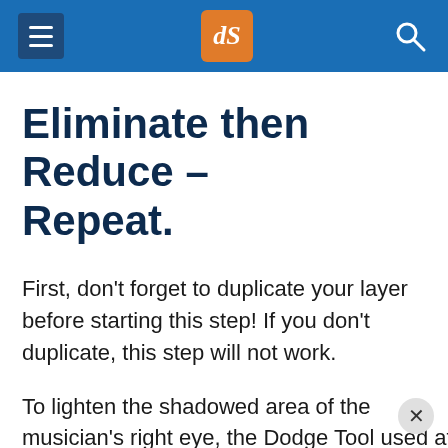dPS navigation header
Eliminate then Reduce – Repeat.
First, don't forget to duplicate your layer before starting this step! If you don't duplicate, this step will not work.
To lighten the shadowed area of the musician's right eye, the Dodge Tool used at 50% on shadows would look too overly processed. But b